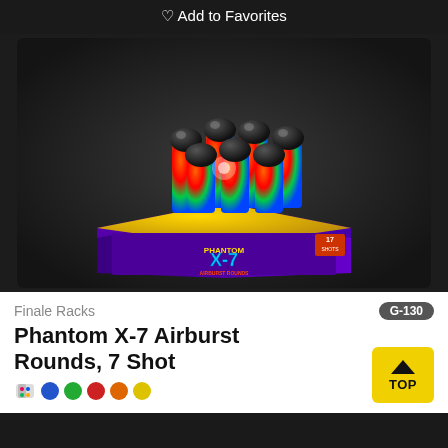♡ Add to Favorites
[Figure (photo): Phantom X-7 Airburst Rounds 7 Shot fireworks product — a hexagonal gold box with purple branding showing 'Phantom X-7 Airburst Rounds' with 7 colorful tubes topped with black domes arranged on top.]
Finale Racks
G-130
Phantom X-7 Airburst Rounds, 7 Shot
[Figure (illustration): Color swatch/filter icons — a paint palette icon followed by colored circles: blue, green, red, orange, yellow]